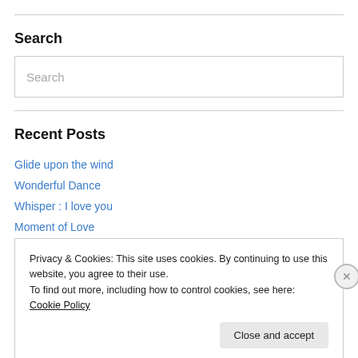Search
[Figure (other): Search input box with placeholder text 'Search']
Recent Posts
Glide upon the wind
Wonderful Dance
Whisper : I love you
Moment of Love
Privacy & Cookies: This site uses cookies. By continuing to use this website, you agree to their use.
To find out more, including how to control cookies, see here: Cookie Policy
Close and accept